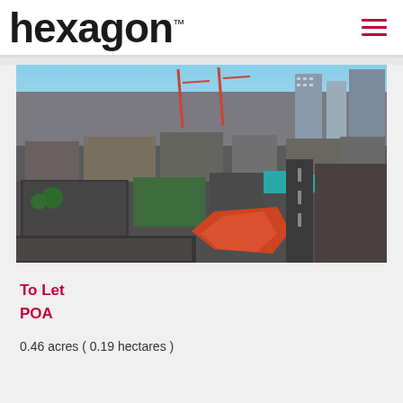hexagon™
[Figure (photo): Aerial view of an urban city area with a highlighted orange/red parcel of land in the foreground, surrounded by commercial and industrial buildings. Construction cranes visible in the background skyline.]
To Let
POA
0.46 acres ( 0.19 hectares )